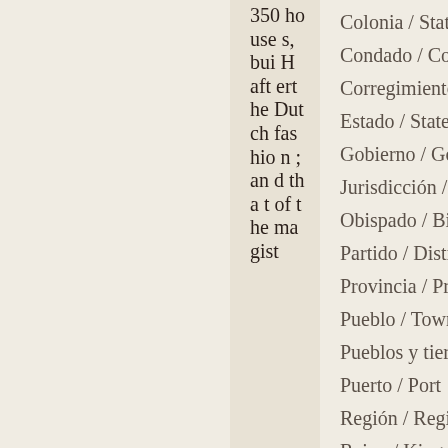350 houses, bui H afterthe Dutch fashion; and that of the magist
Colonia / State
Condado / County
Corregimiento
Estado / State
Gobierno / Government
Jurisdicción / Jurisdiction
Obispado / Bishopric
Partido / District
Provincia / Province
Pueblo / Town
Pueblos y tierras inc
Puerto / Port
Región / Region
Reino / Kingdom